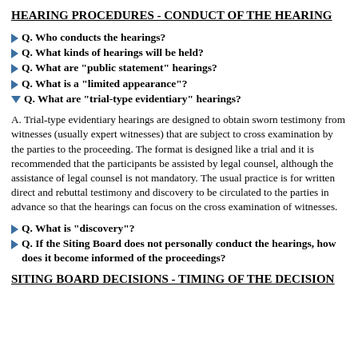HEARING PROCEDURES - CONDUCT OF THE HEARING
Q. Who conducts the hearings?
Q. What kinds of hearings will be held?
Q. What are "public statement" hearings?
Q. What is a "limited appearance"?
Q. What are "trial-type evidentiary" hearings?
A. Trial-type evidentiary hearings are designed to obtain sworn testimony from witnesses (usually expert witnesses) that are subject to cross examination by the parties to the proceeding. The format is designed like a trial and it is recommended that the participants be assisted by legal counsel, although the assistance of legal counsel is not mandatory. The usual practice is for written direct and rebuttal testimony and discovery to be circulated to the parties in advance so that the hearings can focus on the cross examination of witnesses.
Q. What is "discovery"?
Q. If the Siting Board does not personally conduct the hearings, how does it become informed of the proceedings?
SITING BOARD DECISIONS - TIMING OF THE DECISION